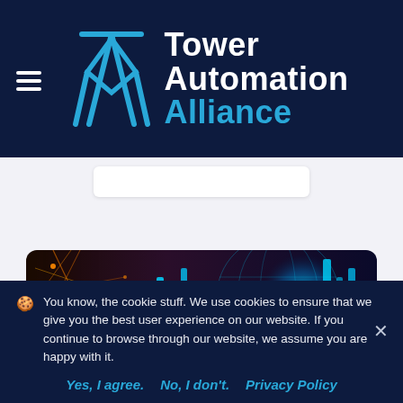[Figure (logo): Tower Automation Alliance logo with hamburger menu icon on left, geometric diamond/tower SVG icon in cyan/blue, and company name 'Tower Automation Alliance' in white and cyan text on dark navy background]
[Figure (photo): Technology/automation themed hero image showing a glowing blue digital globe, orange network lines, and cyan vertical bars on dark background, with rounded corners]
You know, the cookie stuff. We use cookies to ensure that we give you the best user experience on our website. If you continue to browse through our website, we assume you are happy with it.
Yes, I agree.   No, I don't.   Privacy Policy